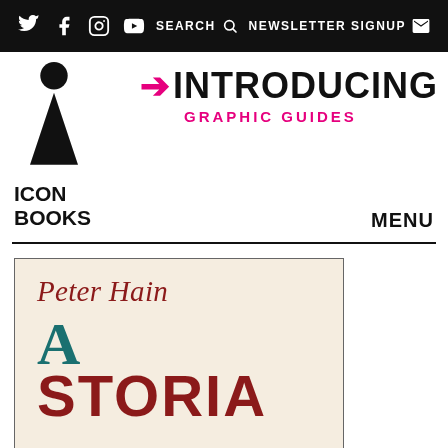Twitter Facebook Instagram YouTube | SEARCH | NEWSLETTER SIGNUP
[Figure (logo): Icon Books logo: black circle above a black triangle, with text ICON BOOKS below]
→ INTRODUCING GRAPHIC GUIDES
MENU
[Figure (photo): Book cover showing 'Peter Hain' in red italic serif font, followed by large letters 'A' in teal and partial 'STORIA' or similar in dark red, on a cream/beige background]